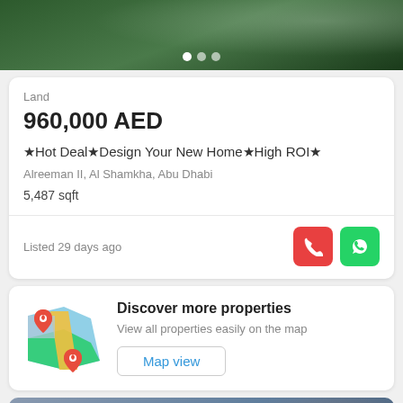[Figure (photo): Top image strip showing green landscape/grass with light source, with three dot indicators at the bottom center]
Land
960,000 AED
★Hot Deal★Design Your New Home★High ROI★
Alreeman II, Al Shamkha, Abu Dhabi
5,487 sqft
Listed 29 days ago
[Figure (infographic): Map icon with location pins showing Discover more properties section with Map view button]
Discover more properties
View all properties easily on the map
Map view
[Figure (photo): Bottom property image showing a building exterior with dramatic sky, Map button and heart/more action buttons overlaid]